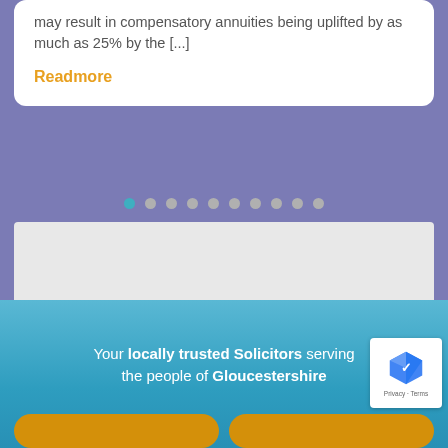may result in compensatory annuities being uplifted by as much as 25% by the [...]
Readmore
[Figure (other): Carousel pagination dots, first dot active (teal), remaining dots grey]
Your locally trusted Solicitors serving the people of Gloucestershire
[Figure (other): reCAPTCHA badge with logo and Privacy - Terms text]
[Figure (other): Two gold/amber rounded call-to-action buttons at the bottom of the blue section]